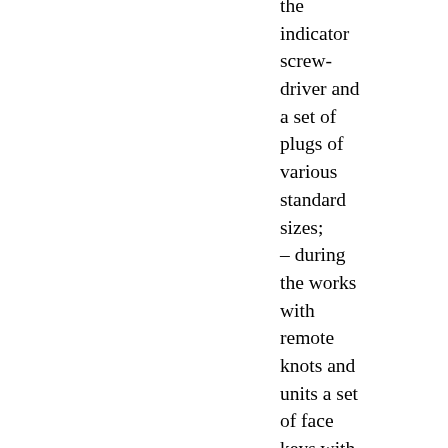the indicator screw-driver and a set of plugs of various standard sizes; – during the works with remote knots and units a set of face keys with a neck rattle and